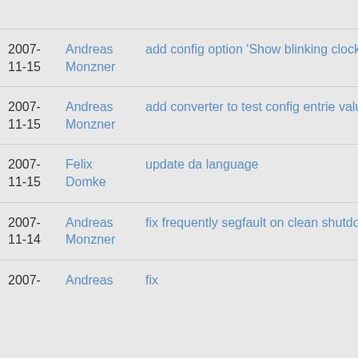2007-11-15  Andreas Monzner  add config option 'Show blinking clock in disp
2007-11-15  Andreas Monzner  add converter to test config entrie values
2007-11-15  Felix Domke  update da language
2007-11-14  Andreas Monzner  fix frequently segfault on clean shutdown
2007-  Andreas  fix